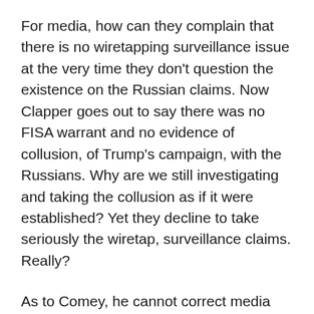For media, how can they complain that there is no wiretapping surveillance issue at the very time they don't question the existence on the Russian claims. Now Clapper goes out to say there was no FISA warrant and no evidence of collusion, of Trump's campaign, with the Russians. Why are we still investigating and taking the collusion as if it were established? Yet they decline to take seriously the wiretap, surveillance claims. Really?
As to Comey, he cannot correct media reports about the collusion claims. But as soon as wiretap claims were leveled, he demands DOJ correct them, then does it himself. His reason was to protect the integrity of the FBI. Again, really? He says he is “incredulous” at the accusation. Within weeks he does two completely opposite things.